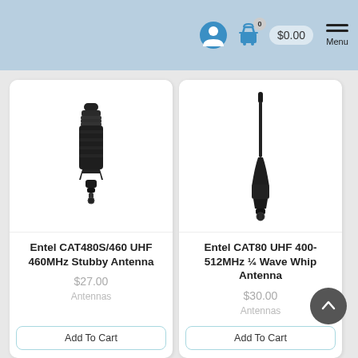0  $0.00  Menu
[Figure (photo): Entel CAT480S/460 UHF 460MHz Stubby Antenna product photo — short black stubby antenna]
Entel CAT480S/460 UHF 460MHz Stubby Antenna
$27.00
Antennas
Add To Cart
[Figure (photo): Entel CAT80 UHF 400-512MHz 1/4 Wave Whip Antenna product photo — tall slender black whip antenna]
Entel CAT80 UHF 400-512MHz ¼ Wave Whip Antenna
$30.00
Antennas
Add To Cart